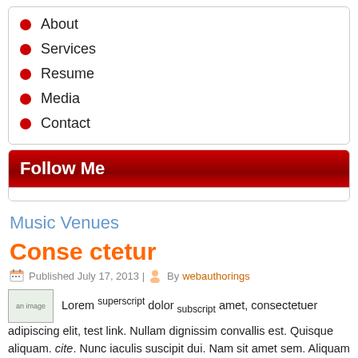About
Services
Resume
Media
Contact
Follow Me
Music Venues
Conse ctetur
Published July 17, 2013 | By webauthorings
an image Lorem superscript dolor subscript amet, consectetuer adipiscing elit, test link. Nullam dignissim convallis est. Quisque aliquam. cite. Nunc iaculis suscipit dui. Nam sit amet sem. Aliquam libero nisi, imperdiet at, tincidunt nec, gravida vehicula, nisl.